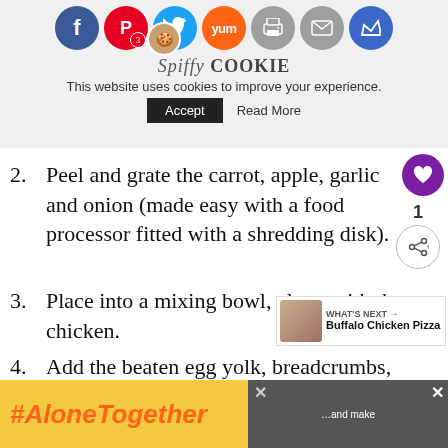[Figure (screenshot): Website header with social share icons (Facebook, Pinterest with badge 3, Twitter, Yum, Print, Mail, Crown), cookie logo, cookie consent notice with Accept button and Read More link]
2. Peel and grate the carrot, apple, garlic and onion (made easy with a food processor fitted with a shredding disk).
3. Place into a mixing bowl, along with the ground chicken.
4. Add the beaten egg yolk, breadcrumbs, thyme, and black pepper. Mix well.
5. Take small balls of the mixture and roll into 48 little…
6. …and make
[Figure (screenshot): #AloneTogether advertisement banner at bottom of page with image of woman and close button]